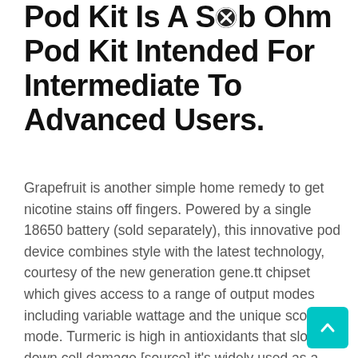Pod Kit Is A Sub Ohm Pod Kit Intended For Intermediate To Advanced Users.
Grapefruit is another simple home remedy to get nicotine stains off fingers. Powered by a single 18650 battery (sold separately), this innovative pod device combines style with the latest technology, courtesy of the new generation gene.tt chipset which gives access to a range of output modes including variable wattage and the unique score mode. Turmeric is high in antioxidants that slow down cell damage [source].it's widely used as a skin exfoliant and improves the texture of skin [source].it helps with inflammatory skin conditions, such as dry skin, psoriasis, and eczema [source].